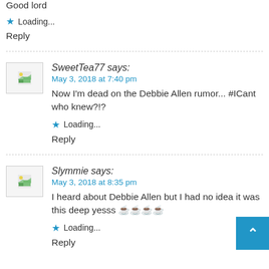Good lord
Loading...
Reply
SweetTea77 says:
May 3, 2018 at 7:40 pm
Now I'm dead on the Debbie Allen rumor... #ICant who knew?!?
Loading...
Reply
Slymmie says:
May 3, 2018 at 8:35 pm
I heard about Debbie Allen but I had no idea it was this deep yesss 🍵🍵🍵🍵
Loading...
Reply